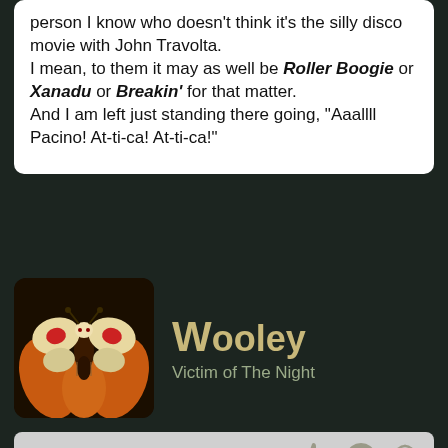person I know who doesn't think it's the silly disco movie with John Travolta.
I mean, to them it may as well be Roller Boogie or Xanadu or Breakin' for that matter.
And I am left just standing there going, "Aaallll Pacino! At-ti-ca! At-ti-ca!"
[Figure (illustration): Avatar image of a stylized butterfly/insect creature with orange and red colors on dark background]
Wooley
Victim of The Night
05-22-22
Originally Posted by Takoma11